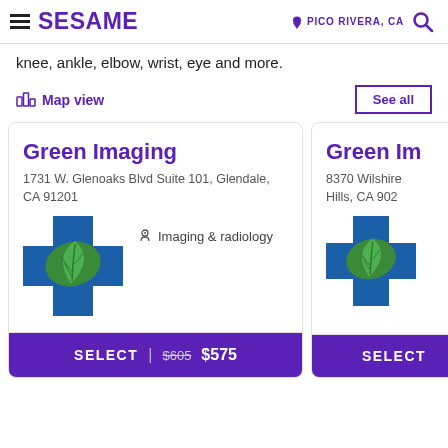SESAME | PICO RIVERA, CA
knee, ankle, elbow, wrist, eye and more.
Map view
See all
Green Imaging
1731 W. Glenoaks Blvd Suite 101, Glendale, CA 91201
Imaging & radiology
SELECT | $605 $575
Green Im
8370 Wilshire Hills, CA 902
SELECT